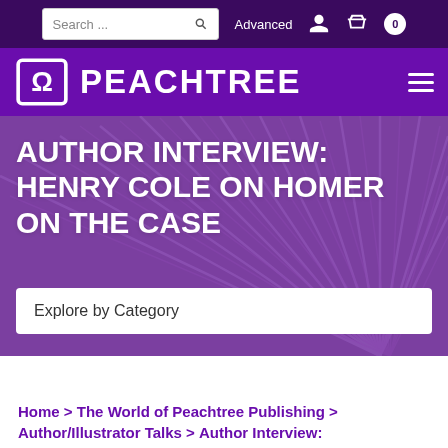Search ... Advanced
[Figure (logo): Peachtree Publishing logo with omega symbol and text PEACHTREE]
AUTHOR INTERVIEW: HENRY COLE ON HOMER ON THE CASE
Explore by Category
Home > The World of Peachtree Publishing > Author/Illustrator Talks > Author Interview: